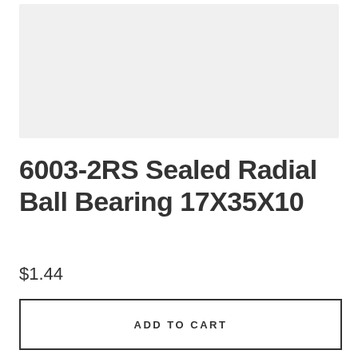[Figure (photo): Product image placeholder — light gray rectangle for the ball bearing product photo]
6003-2RS Sealed Radial Ball Bearing 17X35X10
$1.44
ADD TO CART